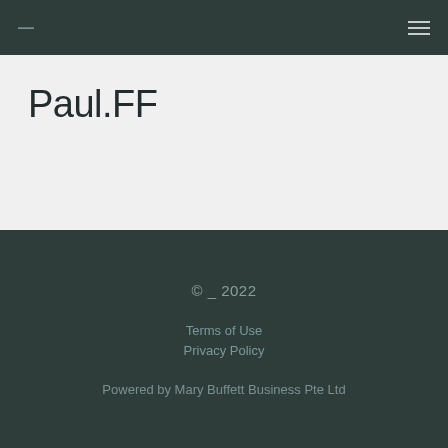— (hamburger menu icon)
Paul.FF
© _ 2022
Terms of Use
Privacy Policy
Powered by Mary Buffett Business Pte Ltd